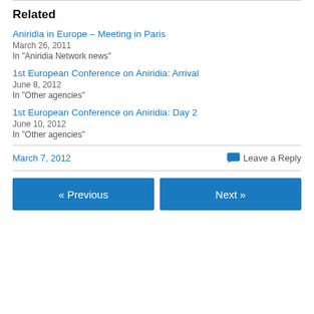Related
Aniridia in Europe – Meeting in Paris
March 26, 2011
In "Aniridia Network news"
1st European Conference on Aniridia: Arrival
June 8, 2012
In "Other agencies"
1st European Conference on Aniridia: Day 2
June 10, 2012
In "Other agencies"
March 7, 2012
Leave a Reply
« Previous   Next »